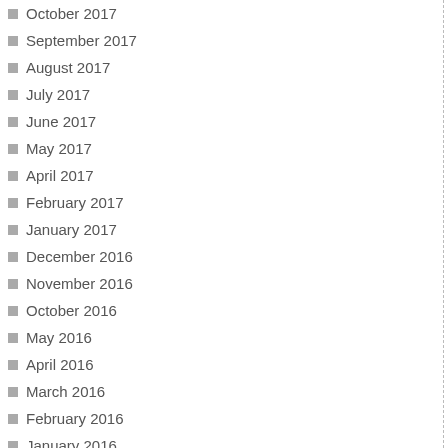October 2017
September 2017
August 2017
July 2017
June 2017
May 2017
April 2017
February 2017
January 2017
December 2016
November 2016
October 2016
May 2016
April 2016
March 2016
February 2016
January 2016
December 2015
November 2015
October 2015
September 2015
August 2015
December 2010
November 2010
October 2010
September 2010
August 2010
p e at e dl y co u nt e d in ca si n o g a m es of sp ec ul ati o n lik e sl